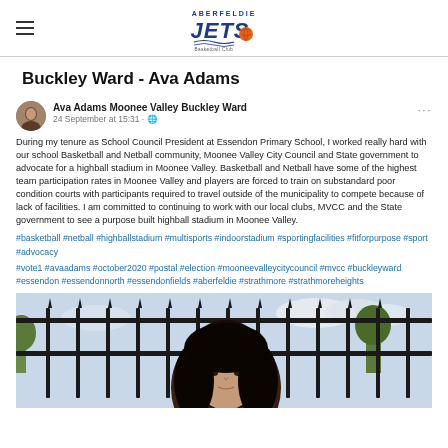Aberfeldie Jets Basketball Club logo with hamburger menu
Buckley Ward - Ava Adams
[Figure (screenshot): Facebook post by Ava Adams Moonee Valley Buckley Ward dated 24 September at 15:31, with profile avatar]
During my tenure as School Council President at Essendon Primary School, I worked really hard with our school Basketball and Netball community, Moonee Valley City Council and State government to advocate for a highball stadium in Moonee Valley. Basketball and Netball have some of the highest team participation rates in Moonee Valley and players are forced to train on substandard poor condition courts with participants required to travel outside of the municipality to compete because of lack of facilities. I am committed to continuing to work with our local clubs, MVCC and the State government to see a purpose built highball stadium in Moonee Valley.
#basketball #netball #highballstadium #multisports #indoorstadium #sportingfacilities #fitforpurpose #sport #advocacy
#vote1 #avaadams #october2020 #postal #election #mooneevalleycitycouncil #mvcc #buckleyward #essendon #essendonnorth #essendonfields #aberfeldie #strathmore #strathmoreheights
[Figure (photo): Photo of Ava Adams (dark-haired woman) in front of iron fence with trees and cloudy sky in background]